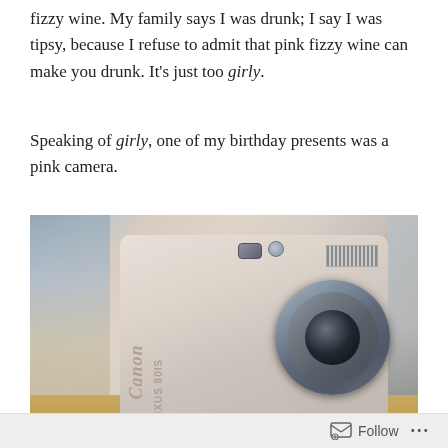fizzy wine. My family says I was drunk; I say I was tipsy, because I refuse to admit that pink fizzy wine can make you drunk. It's just too girly.
Speaking of girly, one of my birthday presents was a pink camera.
[Figure (photo): A pink Canon IXUS digital camera photographed on a wooden surface, front-facing view showing the lens, viewfinder, and flash. Background includes decorative items.]
Follow ...